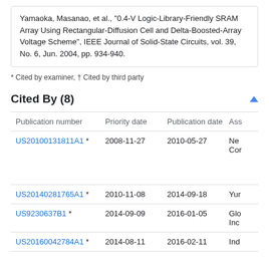Yamaoka, Masanao, et al., "0.4-V Logic-Library-Friendly SRAM Array Using Rectangular-Diffusion Cell and Delta-Boosted-Array Voltage Scheme", IEEE Journal of Solid-State Circuits, vol. 39, No. 6, Jun. 2004, pp. 934-940.
* Cited by examiner, † Cited by third party
Cited By (8)
| Publication number | Priority date | Publication date | Ass |
| --- | --- | --- | --- |
| US20100131811A1 * | 2008-11-27 | 2010-05-27 | Ne
Cor |
| US20140281765A1 * | 2010-11-08 | 2014-09-18 | Yur |
| US9230637B1 * | 2014-09-09 | 2016-01-05 | Glo
Inc |
| US20160042784A1 * | 2014-08-11 | 2016-02-11 | Ind |